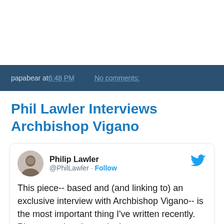papabear at 6:48 PM   No comments:
Phil Lawler Interviews Archbishop Vigano
[Figure (screenshot): Embedded tweet from @PhilLawler (Philip Lawler) with Twitter bird icon, profile avatar, Follow button, and tweet text: 'This piece-- based and (and linking to) an exclusive interview with Archbishop Vigano-- is the most important thing I've written recently. Please read and pass it along.' Below is a linked card preview showing a photo thumbnail and catholicculture.org domain.]